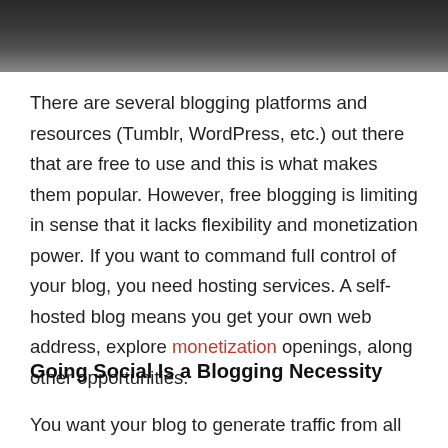[Figure (photo): Dark blurred photo strip at top of page, showing a dark surface, possibly a desk or device]
There are several blogging platforms and resources (Tumblr, WordPress, etc.) out there that are free to use and this is what makes them popular. However, free blogging is limiting in sense that it lacks flexibility and monetization power. If you want to command full control of your blog, you need hosting services. A self-hosted blog means you get your own web address, explore monetization openings, along other opportunities.
Going Social Is a Blogging Necessity
You want your blog to generate traffic from all